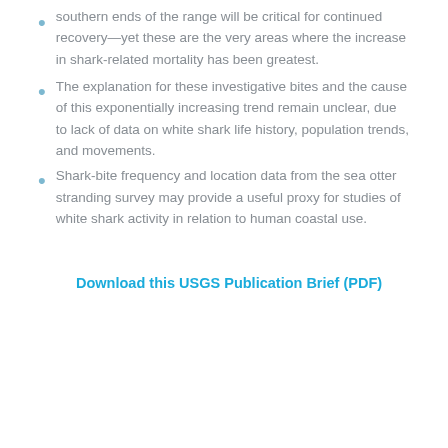southern ends of the range will be critical for continued recovery—yet these are the very areas where the increase in shark-related mortality has been greatest.
The explanation for these investigative bites and the cause of this exponentially increasing trend remain unclear, due to lack of data on white shark life history, population trends, and movements.
Shark-bite frequency and location data from the sea otter stranding survey may provide a useful proxy for studies of white shark activity in relation to human coastal use.
Download this USGS Publication Brief (PDF)